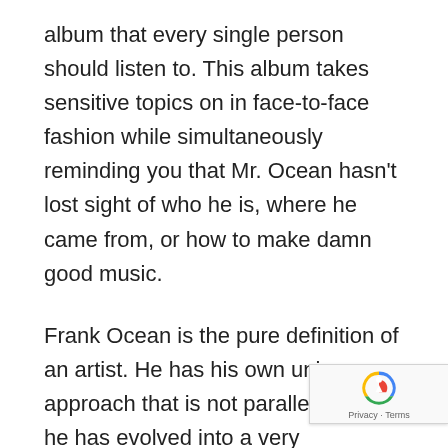album that every single person should listen to. This album takes sensitive topics on in face-to-face fashion while simultaneously reminding you that Mr. Ocean hasn't lost sight of who he is, where he came from, or how to make damn good music.
Frank Ocean is the pure definition of an artist. He has his own unique approach that is not paralleled, and he has evolved into a very idiosyncratic sound that sounds as different as it does familiar. While it will take many more listens to determine which is better between blonde and 2012's Channel Orange, I can at least say blond is on the same level. A masterpiece in regards to composition, lyricism narrative. blond is an album that every single person